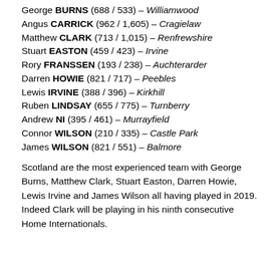George BURNS (688 / 533) – Williamwood
Angus CARRICK (962 / 1,605) – Cragielaw
Matthew CLARK (713 / 1,015) – Renfrewshire
Stuart EASTON (459 / 423) – Irvine
Rory FRANSSEN (193 / 238) – Auchterarder
Darren HOWIE (821 / 717) – Peebles
Lewis IRVINE (388 / 396) – Kirkhill
Ruben LINDSAY (655 / 775) – Turnberry
Andrew NI (395 / 461) – Murrayfield
Connor WILSON (210 / 335) – Castle Park
James WILSON (821 / 551) – Balmore
Scotland are the most experienced team with George Burns, Matthew Clark, Stuart Easton, Darren Howie, Lewis Irvine and James Wilson all having played in 2019. Indeed Clark will be playing in his ninth consecutive Home Internationals.